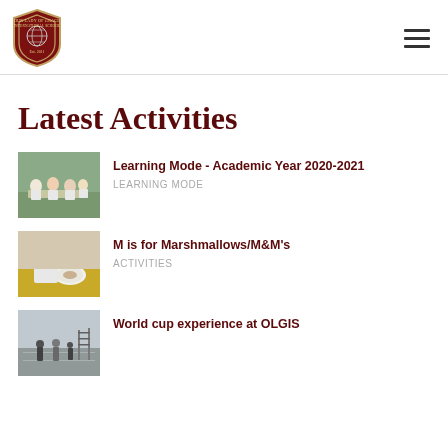[Figure (logo): Our Lady of Grace International School shield logo in dark red/maroon with globe image]
Latest Activities
[Figure (photo): Children in white uniforms sitting around a table, learning activity]
Learning Mode - Academic Year 2020-2021
LEARNING MODE
[Figure (photo): Young child sitting at a yellow table with a plate of food, close-up photo]
M is for Marshmallows/M&M's
ACTIVITIES
[Figure (photo): Outdoor basketball court or sports area with people in the background, overcast sky]
World cup experience at OLGIS